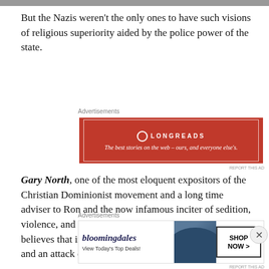[Figure (photo): Top strip image remnant, partially visible at the top of the page]
But the Nazis weren't the only ones to have such visions of religious superiority aided by the police power of the state.
[Figure (other): Longreads advertisement: red background with white border, logo and tagline 'The best stories on the web – ours, and everyone else's.']
Gary North, one of the most eloquent expositors of the Christian Dominionist movement and a long time adviser to Ron and the now infamous inciter of sedition, violence, and rebellion, Senator Rand Paul who believes that it is okay for a President to incite sedition and an attack on the Capitol that...
[Figure (other): Bloomingdale's advertisement with logo, 'View Today's Top Deals!', image of woman in hat, and 'SHOP NOW >' button]